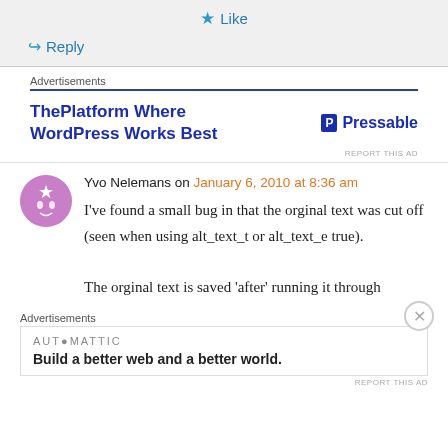★ Like
↳ Reply
Advertisements
[Figure (other): Advertisement banner: ThePlatform Where WordPress Works Best | Pressable logo]
REPORT THIS AD
Yvo Nelemans on January 6, 2010 at 8:36 am
I've found a small bug in that the orginal text was cut off (seen when using alt_text_t or alt_text_e true).

The orginal text is saved 'after' running it through
Advertisements
[Figure (other): Automattic advertisement: Build a better web and a better world.]
REPORT THIS AD